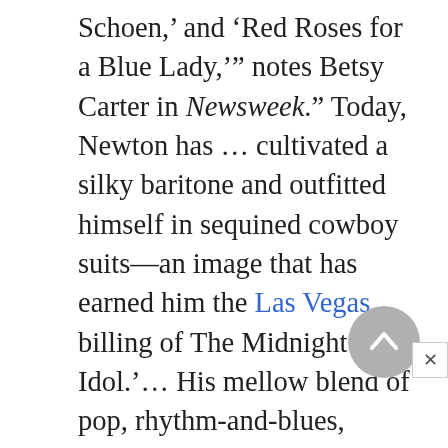Schoen,' and 'Red Roses for a Blue Lady,'" notes Betsy Carter in Newsweek." Today, Newton has … cultivated a silky baritone and outfitted himself in sequined cowboy suits—an image that has earned him the Las Vegas billing of The Midnight Idol.'… His mellow blend of pop, rhythm-and-blues, country and rock wins no fewer than five ovations each night from the predominantly middle-aged, Middle American audience." Esquire contributor Ron Rosenbaum observes